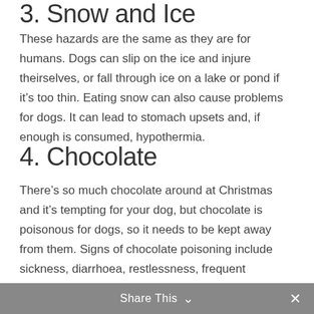3. Snow and Ice
These hazards are the same as they are for humans. Dogs can slip on the ice and injure theirselves, or fall through ice on a lake or pond if it’s too thin. Eating snow can also cause problems for dogs. It can lead to stomach upsets and, if enough is consumed, hypothermia.
4. Chocolate
There’s so much chocolate around at Christmas and it’s tempting for your dog, but chocolate is poisonous for dogs, so it needs to be kept away from them. Signs of chocolate poisoning include sickness, diarrhoea, restlessness, frequent urination, but if they eat a large quantity, then the symptoms and consequences become considerably more severe. If you dog does eat chocolate this Christmas, the best thing to do is get them straight to the vets.
Share This ∨  ×